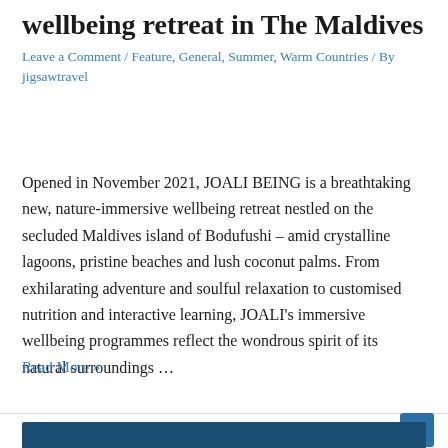wellbeing retreat in The Maldives
Leave a Comment / Feature, General, Summer, Warm Countries / By jigsawtravel
Opened in November 2021, JOALI BEING is a breathtaking new, nature-immersive wellbeing retreat nestled on the secluded Maldives island of Bodufushi – amid crystalline lagoons, pristine beaches and lush coconut palms. From exhilarating adventure and soulful relaxation to customised nutrition and interactive learning, JOALI's immersive wellbeing programmes reflect the wondrous spirit of its natural surroundings …
Read More »
[Figure (photo): Dark teal/blue image visible at bottom of page, partially cropped]